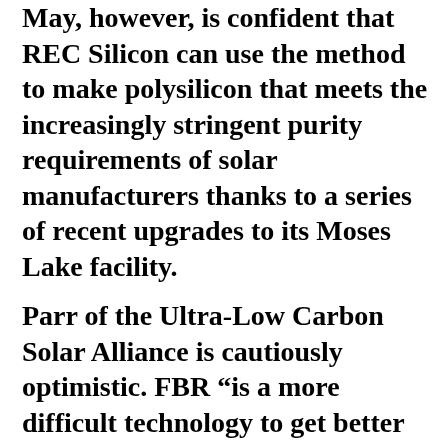May, however, is confident that REC Silicon can use the method to make polysilicon that meets the increasingly stringent purity requirements of solar manufacturers thanks to a series of recent upgrades to its Moses Lake facility.
Parr of the Ultra-Low Carbon Solar Alliance is cautiously optimistic. FBR “is a more difficult technology to get better purity from,” he said, but REC Silicon has spent more